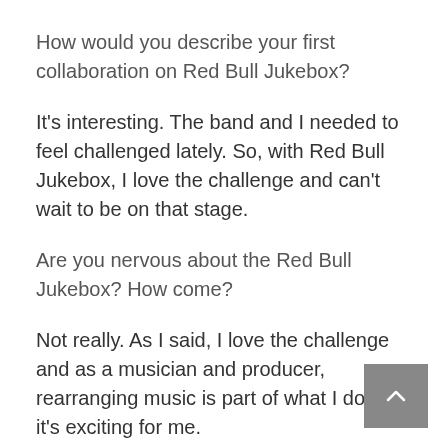How would you describe your first collaboration on Red Bull Jukebox?
It's interesting. The band and I needed to feel challenged lately. So, with Red Bull Jukebox, I love the challenge and can't wait to be on that stage.
Are you nervous about the Red Bull Jukebox? How come?
Not really. As I said, I love the challenge and as a musician and producer, rearranging music is part of what I do, so it's exciting for me.
Name your top 3 favorite songs!
Addi Ya 3'mira, Meen Gallek and Mafi Mennek